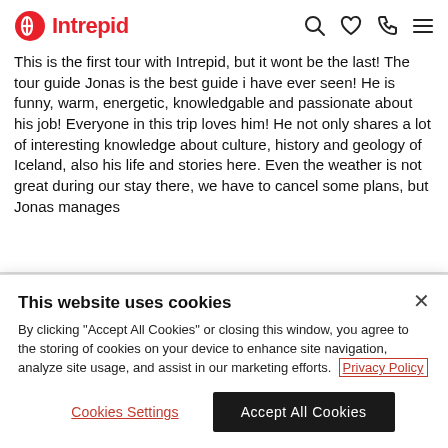Intrepid [logo with navigation icons: search, heart, phone, menu]
This is the first tour with Intrepid, but it wont be the last! The tour guide Jonas is the best guide i have ever seen! He is funny, warm, energetic, knowledgable and passionate about his job! Everyone in this trip loves him! He not only shares a lot of interesting knowledge about culture, history and geology of Iceland, also his life and stories here. Even the weather is not great during our stay there, we have to cancel some plans, but Jonas manages to handle the unexpected situations so well and...
This website uses cookies

By clicking "Accept All Cookies" or closing this window, you agree to the storing of cookies on your device to enhance site navigation, analyze site usage, and assist in our marketing efforts.  Privacy Policy

[Cookies Settings]  [Accept All Cookies]